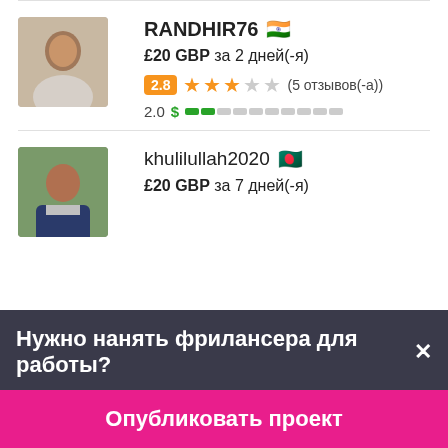[Figure (photo): Profile photo of RANDHIR76, a man in white shirt]
RANDHIR76 🇮🇳
£20 GBP за 2 дней(-я)
2.8 ★★★☆☆ (5 отзывов(-а))
2.0 $ ██░░░░░░░░
[Figure (photo): Profile photo of khulilullah2020, a man in suit]
khulilullah2020 🇧🇩
£20 GBP за 7 дней(-я)
Нужно нанять фрилансера для работы?
Опубликовать проект